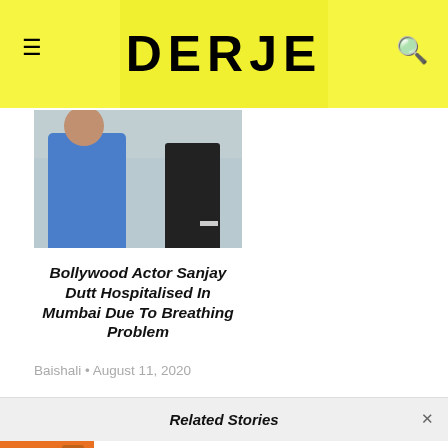DERJE
[Figure (photo): Photo of a man in a blue shirt wearing a face mask, with a dark figure behind him, indoor setting]
Bollywood Actor Sanjay Dutt Hospitalised In Mumbai Due To Breathing Problem
Baishali • August 11, 2020
Related Stories
CORONAVIRUS HANDLED BY INDIA BETTER THAN MANY DEVELOPED NATIONS